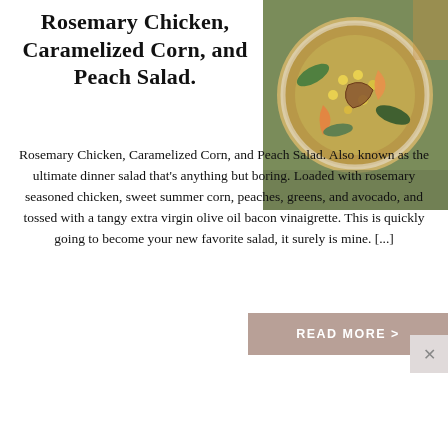Rosemary Chicken, Caramelized Corn, and Peach Salad.
[Figure (photo): Overhead photo of a salad bowl with rosemary chicken, caramelized corn, peach slices, greens, and avocado on a wooden surface with herbs.]
Rosemary Chicken, Caramelized Corn, and Peach Salad. Also known as the ultimate dinner salad that's anything but boring. Loaded with rosemary seasoned chicken, sweet summer corn, peaches, greens, and avocado, and tossed with a tangy extra virgin olive oil bacon vinaigrette. This is quickly going to become your new favorite salad, it surely is mine. [...]
READ MORE >